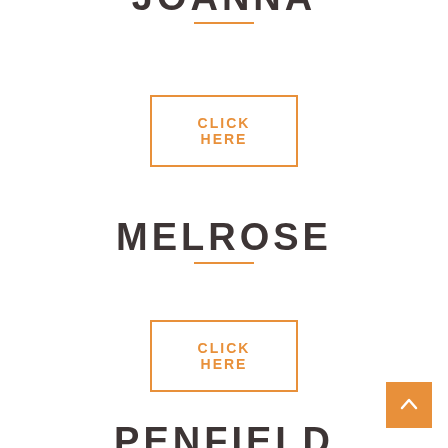JOANNA
CLICK HERE
MELROSE
CLICK HERE
PENFIELD